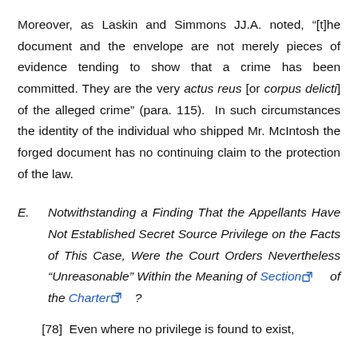Moreover, as Laskin and Simmons JJ.A. noted, “[t]he document and the envelope are not merely pieces of evidence tending to show that a crime has been committed. They are the very actus reus [or corpus delicti] of the alleged crime” (para. 115). In such circumstances the identity of the individual who shipped Mr. McIntosh the forged document has no continuing claim to the protection of the law.
E. Notwithstanding a Finding That the Appellants Have Not Established Secret Source Privilege on the Facts of This Case, Were the Court Orders Nevertheless “Unreasonable” Within the Meaning of Section of the Charter ?
[78] Even where no privilege is found to exist,